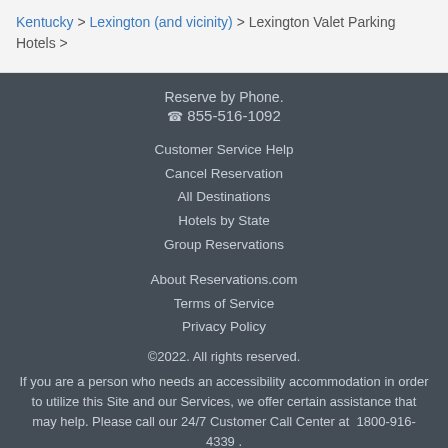Kentucky > Lexington (and vicinity) > Lexington Valet Parking Hotels >
Reserve by Phone.
☎ 855-516-1092
Customer Service Help
Cancel Reservation
All Destinations
Hotels by State
Group Reservations
About Reservations.com
Terms of Service
Privacy Policy
©2022. All rights reserved.
If you are a person who needs an accessibility accommodation in order to utilize this Site and our Services, we offer certain assistance that may help. Please call our 24/7 Customer Call Center at  1800-916-4339 .